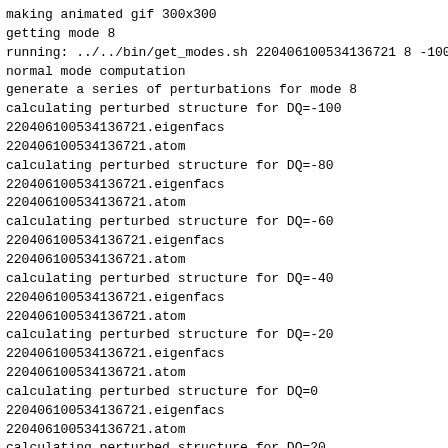making animated gif 300x300
getting mode 8
running: ../../bin/get_modes.sh 220406100534136721 8 -100
normal mode computation
generate a series of perturbations for mode 8
calculating perturbed structure for DQ=-100
220406100534136721.eigenfacs
220406100534136721.atom
calculating perturbed structure for DQ=-80
220406100534136721.eigenfacs
220406100534136721.atom
calculating perturbed structure for DQ=-60
220406100534136721.eigenfacs
220406100534136721.atom
calculating perturbed structure for DQ=-40
220406100534136721.eigenfacs
220406100534136721.atom
calculating perturbed structure for DQ=-20
220406100534136721.eigenfacs
220406100534136721.atom
calculating perturbed structure for DQ=0
220406100534136721.eigenfacs
220406100534136721.atom
calculating perturbed structure for DQ=20
220406100534136721.eigenfacs
220406100534136721.atom
calculating perturbed structure for DQ=40
220406100534136721.eigenfacs
220406100534136721.atom
calculating perturbed structure for DQ=60